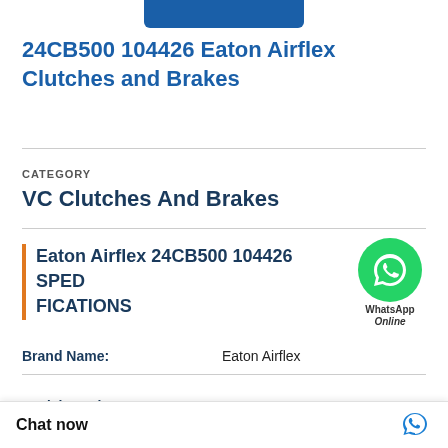24CB500 104426 Eaton Airflex Clutches and Brakes
CATEGORY
VC Clutches And Brakes
Eaton Airflex 24CB500 104426 SPECIFICATIONS
| Property | Value |
| --- | --- |
| Brand Name: | Eaton Airflex |
| Model Number: | 24CB500 104426 |
| L (Bolt) No (in): | Clutch only, Assembl |
Chat now